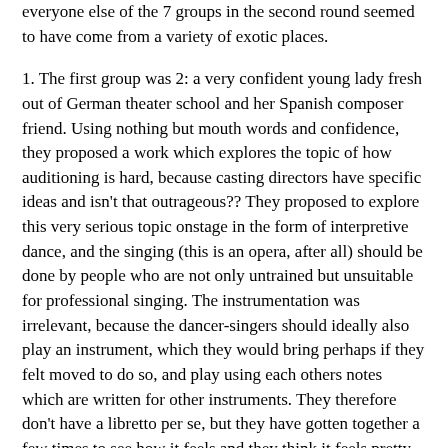everyone else of the 7 groups in the second round seemed to have come from a variety of exotic places.
1. The first group was 2: a very confident young lady fresh out of German theater school and her Spanish composer friend. Using nothing but mouth words and confidence, they proposed a work which explores the topic of how auditioning is hard, because casting directors have specific ideas and isn't that outrageous?? They proposed to explore this very serious topic onstage in the form of interpretive dance, and the singing (this is an opera, after all) should be done by people who are not only untrained but unsuitable for professional singing. The instrumentation was irrelevant, because the dancer-singers should ideally also play an instrument, which they would bring perhaps if they felt moved to do so, and play using each others notes which are written for other instruments. They therefore don't have a libretto per se, but they have gotten together a few times to see how it feels and they think it feels pretty good, at least the dancing part.
2. The second group was three very shy little boys wearing cardigans, who seemed to basically present the idea that it is